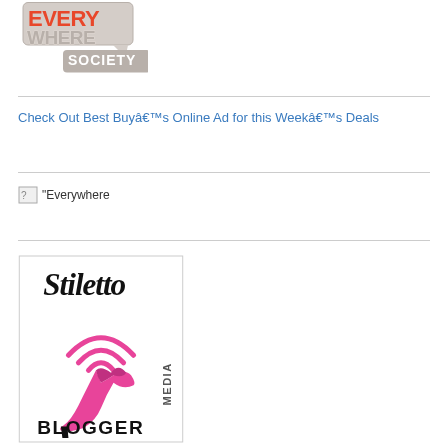[Figure (logo): Everywhere Society logo with orange/red 'EVERYWHERE' text and grey speech bubble with 'SOCIETY' text]
Check Out Best Buyâ€™s Online Ad for this Weekâ€™s Deals
[Figure (other): Broken image placeholder for 'Everywhere' image]
[Figure (logo): Stiletto Media Blogger logo with pink high heel shoe and wireless signal graphic, black text 'Stiletto' in script and 'MEDIA BLOGGER' text]